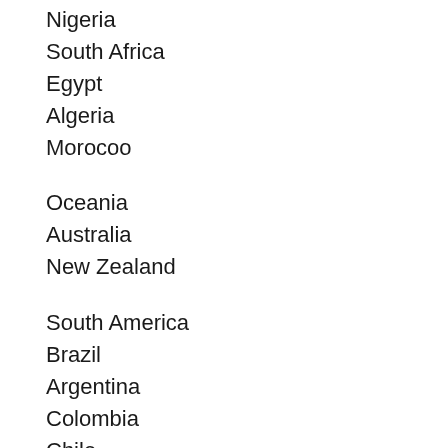Nigeria
South Africa
Egypt
Algeria
Morocoo
Oceania
Australia
New Zealand
South America
Brazil
Argentina
Colombia
Chile
Venezuela
Peru
Puerto Rico